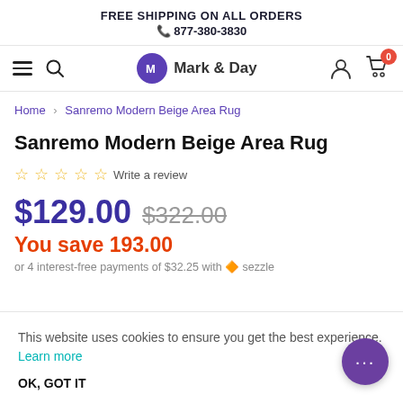FREE SHIPPING ON ALL ORDERS
📞 877-380-3830
[Figure (logo): Mark & Day logo with purple circle M icon and navigation bar including hamburger menu, search icon, user icon, and cart with 0 badge]
Home > Sanremo Modern Beige Area Rug
Sanremo Modern Beige Area Rug
☆☆☆☆☆ Write a review
$129.00  $322.00
You save 193.00
or 4 interest-free payments of $32.25 with 🔶 sezzle
This website uses cookies to ensure you get the best experience. Learn more
OK, GOT IT